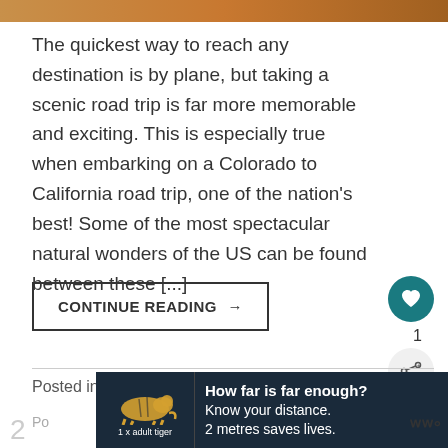[Figure (photo): Top strip showing a partial scenic road trip image with warm brown/orange tones]
The quickest way to reach any destination is by plane, but taking a scenic road trip is far more memorable and exciting. This is especially true when embarking on a Colorado to California road trip, one of the nation's best! Some of the most spectacular natural wonders of the US can be found between these [...]
CONTINUE READING →
Posted in Colorado, California, Itineraries
[Figure (infographic): Advertisement banner with tiger illustration. Text: How far is far enough? Know your distance. 2 metres saves lives. 1 x adult tiger]
[Figure (photo): What's next section with avatar photo and text: WHAT'S NEXT → Blog • Megan & Aram |...]